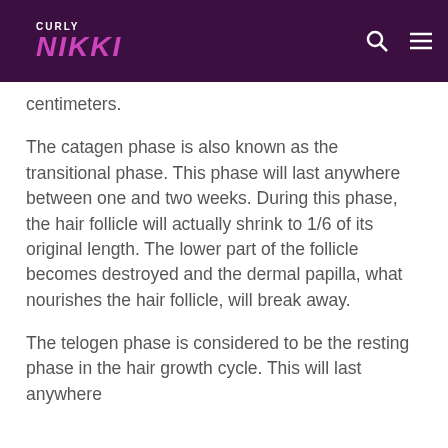CURLY NIKKI
centimeters.
The catagen phase is also known as the transitional phase. This phase will last anywhere between one and two weeks. During this phase, the hair follicle will actually shrink to 1/6 of its original length. The lower part of the follicle becomes destroyed and the dermal papilla, what nourishes the hair follicle, will break away.
The telogen phase is considered to be the resting phase in the hair growth cycle. This will last anywhere